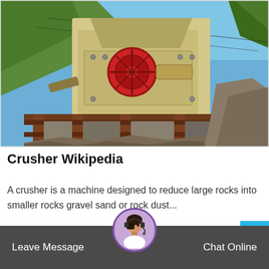[Figure (photo): Outdoor photo of a large industrial jaw crusher machine with a cream/yellow metal body and red circular flywheel, sitting on a brown steel frame structure, with green hills and blue sky in the background.]
Crusher Wikipedia
A crusher is a machine designed to reduce large rocks into smaller rocks gravel sand or rock dust...
Leave Message   Chat Online